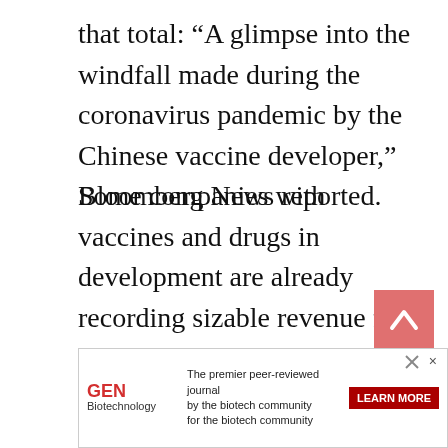that total: “A glimpse into the windfall made during the coronavirus pandemic by the Chinese vaccine developer,” Bloomberg News reported.
Some companies with vaccines and drugs in development are already recording sizable revenue from them. Novavax, for example, said it has generated $745.246 million in the first six months of 2021 ($298.017 million during Q2), which the company said reflected development activities relating to its vaccine NVX-CoV2373 for services performed under the U.S. government and Coalition for Epidemic Preparedness Innovations agreements.
This
[Figure (other): Back-to-top arrow button (pink/salmon colored square with upward chevron)]
[Figure (other): GEN Biotechnology advertisement banner: 'The premier peer-reviewed journal by the biotech community for the biotech community' with LEARN MORE button]